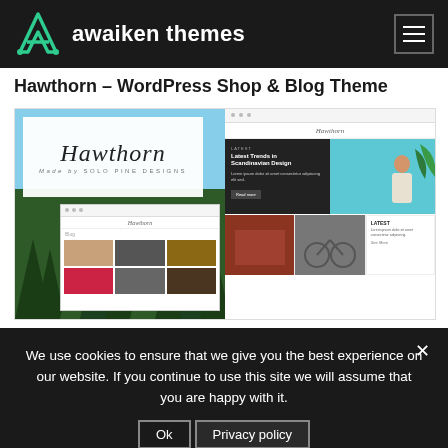awaiken themes
Hawthorn – WordPress Shop & Blog Theme
[Figure (screenshot): Screenshot composite of Hawthorn WordPress theme showing logo, forest imagery, mini browser previews with blog/shop grid layouts]
We use cookies to ensure that we give you the best experience on our website. If you continue to use this site we will assume that you are happy with it.
Ok   Privacy policy